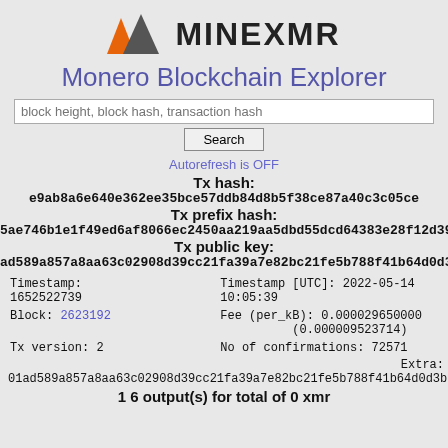[Figure (logo): MineXMR logo with orange and grey mountain triangles and text MINEXMR]
Monero Blockchain Explorer
block height, block hash, transaction hash [Search]
Autorefresh is OFF
Tx hash: e9ab8a6e640e362ee35bce57ddb84d8b5f38ce87a40c3c05ce
Tx prefix hash: 5ae746b1e1f49ed6af8066ec2450aa219aa5dbd55dcd64383e28f12d39053
Tx public key: ad589a857a8aa63c02908d39cc21fa39a7e82bc21fe5b788f41b64d0d3bfa
| Timestamp:
1652522739 | Timestamp [UTC]: 2022-05-14 10:05:39 |
| Block: 2623192 | Fee (per_kB): 0.000029650000
(0.000009523714) |
| Tx version: 2 | No of confirmations: 72571 |
Extra: 01ad589a857a8aa63c02908d39cc21fa39a7e82bc21fe5b788f41b64d0d3bf
1 6 output(s) for total of 0 xmr